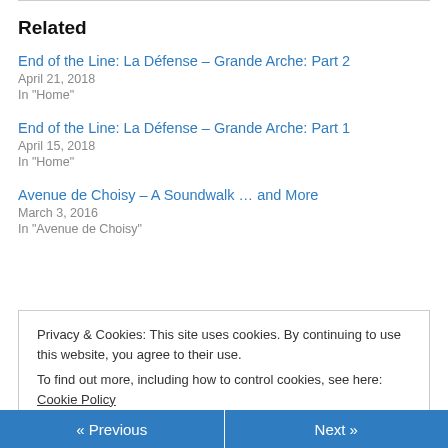Related
End of the Line: La Défense – Grande Arche: Part 2
April 21, 2018
In "Home"
End of the Line: La Défense – Grande Arche: Part 1
April 15, 2018
In "Home"
Avenue de Choisy – A Soundwalk … and More
March 3, 2016
In "Avenue de Choisy"
Privacy & Cookies: This site uses cookies. By continuing to use this website, you agree to their use.
To find out more, including how to control cookies, see here: Cookie Policy
« Previous
Next »